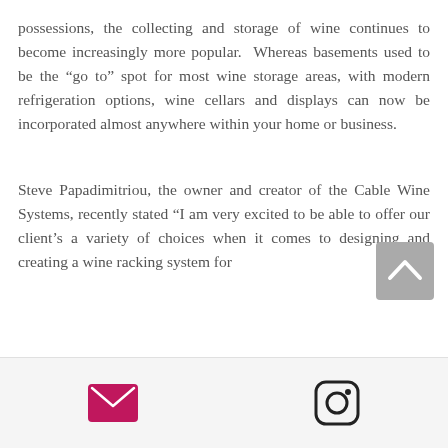possessions, the collecting and storage of wine continues to become increasingly more popular. Whereas basements used to be the “go to” spot for most wine storage areas, with modern refrigeration options, wine cellars and displays can now be incorporated almost anywhere within your home or business.
Steve Papadimitriou, the owner and creator of the Cable Wine Systems, recently stated “I am very excited to be able to offer our client’s a variety of choices when it comes to designing and creating a wine racking system for
[Figure (other): Scroll-to-top button (grey rounded square with upward chevron arrow)]
[Figure (other): Footer bar with email icon (pink envelope) and Instagram icon (camera outline)]